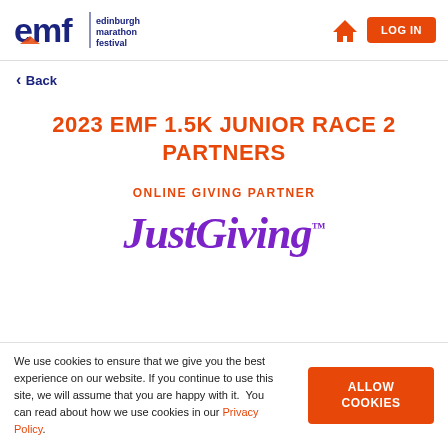Edinburgh Marathon Festival — Home | LOG IN
Back
2023 EMF 1.5K JUNIOR RACE 2 PARTNERS
ONLINE GIVING PARTNER
[Figure (logo): JustGiving logo in purple italic text with trademark symbol]
We use cookies to ensure that we give you the best experience on our website. If you continue to use this site, we will assume that you are happy with it.  You can read about how we use cookies in our Privacy Policy.